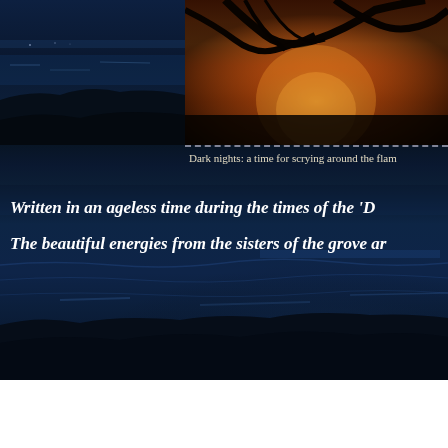[Figure (photo): Split photo: left side shows a dark coastal seascape at night with rocky shoreline, right side shows a glowing bonfire with burning branches against a dark background]
Dark nights: a time for scrying around the flam
Written in an ageless time during the times of the ‘D
The beautiful energies from the sisters of the grove ar
[Figure (photo): Wide dark coastal seascape at night with deep blue tones, rocky shoreline and calm water reflecting dim light]
Share this: